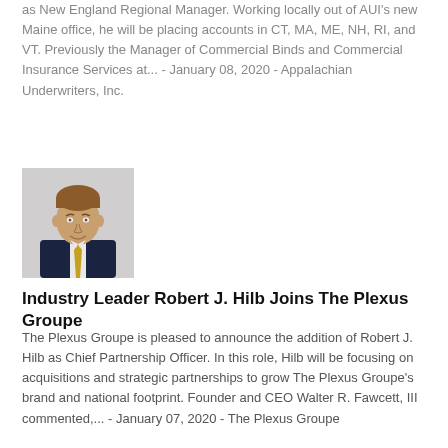as New England Regional Manager. Working locally out of AUI's new Maine office, he will be placing accounts in CT, MA, ME, NH, RI, and VT. Previously the Manager of Commercial Binds and Commercial Insurance Services at... - January 08, 2020 - Appalachian Underwriters, Inc.
[Figure (photo): Headshot of Robert J. Hilb, a man in a pinstripe suit with a yellow tie, smiling, against a light gray background.]
Industry Leader Robert J. Hilb Joins The Plexus Groupe
The Plexus Groupe is pleased to announce the addition of Robert J. Hilb as Chief Partnership Officer. In this role, Hilb will be focusing on acquisitions and strategic partnerships to grow The Plexus Groupe's brand and national footprint. Founder and CEO Walter R. Fawcett, III commented,... - January 07, 2020 - The Plexus Groupe